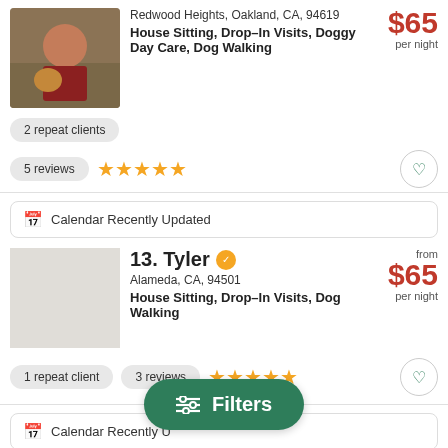[Figure (photo): Photo of a person with a dog outdoors]
Redwood Heights, Oakland, CA, 94619
House Sitting, Drop-In Visits, Doggy Day Care, Dog Walking
$65 per night
2 repeat clients
5 reviews ★★★★★
Calendar Recently Updated
13. Tyler
Alameda, CA, 94501
House Sitting, Drop-In Visits, Dog Walking
$65 per night
1 repeat client
3 reviews ★★★★★
Calendar Recently Updated
14. Whitney
Maxwell Park, Oakland, CA, 94619
$35